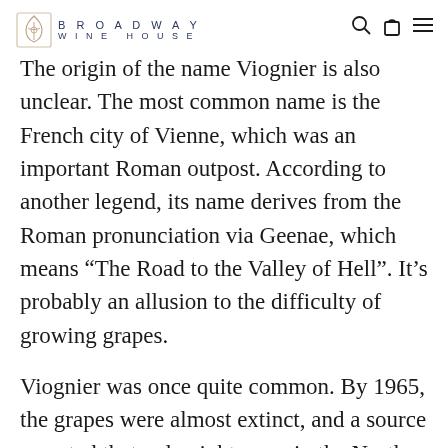BROADWAY WINE HOUSE
The origin of the name Viognier is also unclear. The most common name is the French city of Vienne, which was an important Roman outpost. According to another legend, its name derives from the Roman pronunciation via Geenae, which means “The Road to the Valley of Hell”. It’s probably an allusion to the difficulty of growing grapes.
Viognier was once quite common. By 1965, the grapes were almost extinct, and a source reported that only eight acres in the North Rhone produced only 1900 litres of wine at the time. The popularity and price of wine increased and the number of plantations increased. Rhone now has